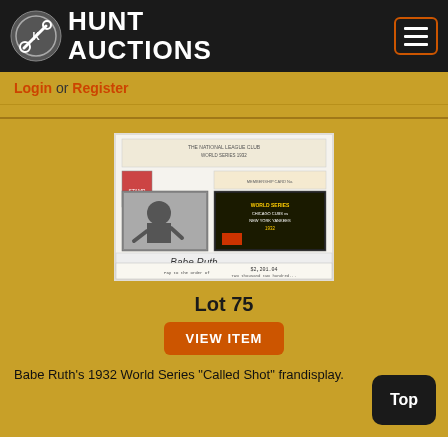[Figure (logo): Hunt Auctions logo with circular emblem and white text on black background]
Login or Register
[Figure (photo): Framed display of Babe Ruth memorabilia including photo, signature, check, and World Series items]
Lot 75
VIEW ITEM
Babe Ruth's 1932 World Series "Called Shot" framed display.